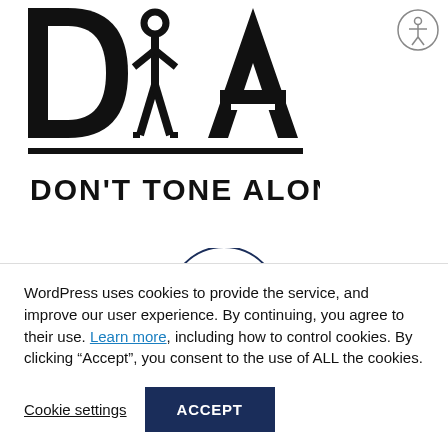[Figure (logo): DTA fitness logo with stylized letters D, a person figure, A and text 'DON'T TONE ALONE' below]
[Figure (illustration): Circular icon with analytics/chart graphics inside (line chart, pie chart, bar chart elements)]
[Figure (logo): Accessibility icon: circle with stick figure and arms outstretched]
WordPress uses cookies to provide the service, and improve our user experience. By continuing, you agree to their use. Learn more, including how to control cookies. By clicking “Accept”, you consent to the use of ALL the cookies.
Cookie settings
ACCEPT